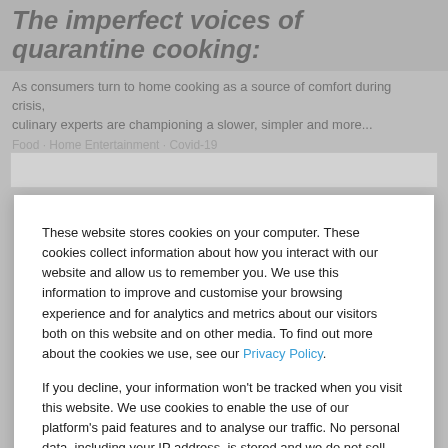The imperfect voices of quarantine cooking:
As consumers turn to home cooking as a source of comfort during crisis, culinary experts are championing a slower, simpler and more...
Food · Home Entertainment · Covid-19
These website stores cookies on your computer. These cookies collect information about how you interact with our website and allow us to remember you. We use this information to improve and customise your browsing experience and for analytics and metrics about our visitors both on this website and on other media. To find out more about the cookies we use, see our Privacy Policy.

If you decline, your information won't be tracked when you visit this website. We use cookies to enable the use of our platform's paid features and to analyse our traffic. No personal data, including your IP address, is stored and we do not sell data to third parties.
Accept
Decline